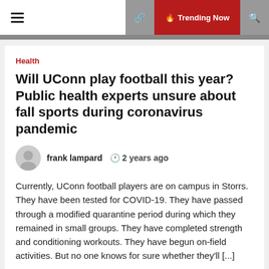≡  🔥 Trending Now
Health
Will UConn play football this year? Public health experts unsure about fall sports during coronavirus pandemic
frank lampard  🕐 2 years ago
Currently, UConn football players are on campus in Storrs. They have been tested for COVID-19. They have passed through a modified quarantine period during which they remained in small groups. They have completed strength and conditioning workouts. They have begun on-field activities. But no one knows for sure whether they'll [...]
der test?   Ever heard of a paternity test?